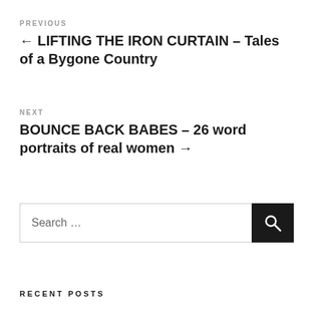PREVIOUS
← LIFTING THE IRON CURTAIN – Tales of a Bygone Country
NEXT
BOUNCE BACK BABES – 26 word portraits of real women →
Search …
RECENT POSTS